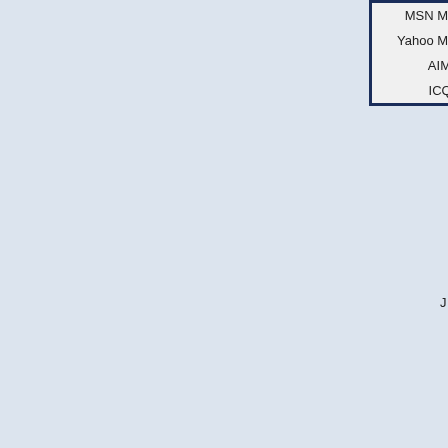| Label | Value |
| --- | --- |
| MSN Messenger: |  |
| Yahoo Messenger: |  |
| AIM Address: |  |
| ICQ Number: |  |
| We |  |
| Occupa |  |
| Inte |  |
J
Protected b
[Figure (screenshot): ESL Lesson Plan blog widget with links: Sentence Diagramming, Be A Better Writer, When Does Slang Die?, 151 Great Writing Websites, How Well Do You Know English?]
[Figure (screenshot): ESL School - A blog for ESL widget header]